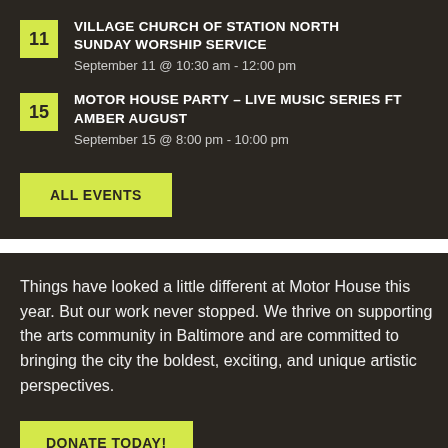11 — VILLAGE CHURCH OF STATION NORTH SUNDAY WORSHIP SERVICE
September 11 @ 10:30 am - 12:00 pm
15 — MOTOR HOUSE PARTY – LIVE MUSIC SERIES FT AMBER AUGUST
September 15 @ 8:00 pm - 10:00 pm
ALL EVENTS
Things have looked a little different at Motor House this year. But our work never stopped. We thrive on supporting the arts community in Baltimore and are committed to bringing the city the boldest, exciting, and unique artistic perspectives.
DONATE TODAY!